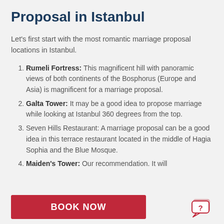Proposal in Istanbul
Let's first start with the most romantic marriage proposal locations in Istanbul.
Rumeli Fortress: This magnificent hill with panoramic views of both continents of the Bosphorus (Europe and Asia) is magnificent for a marriage proposal.
Galta Tower: It may be a good idea to propose marriage while looking at Istanbul 360 degrees from the top.
Seven Hills Restaurant: A marriage proposal can be a good idea in this terrace restaurant located in the middle of Hagia Sophia and the Blue Mosque.
Maiden's Tower: Our recommendation. It will
BOOK NOW